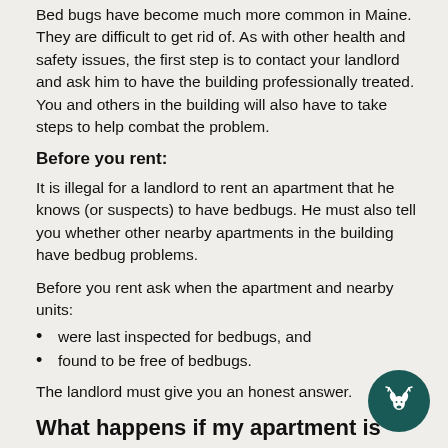Bed bugs have become much more common in Maine. They are difficult to get rid of. As with other health and safety issues, the first step is to contact your landlord and ask him to have the building professionally treated. You and others in the building will also have to take steps to help combat the problem.
Before you rent:
It is illegal for a landlord to rent an apartment that he knows (or suspects) to have bedbugs. He must also tell you whether other nearby apartments in the building have bedbug problems.
Before you rent ask when the apartment and nearby units:
were last inspected for bedbugs, and
found to be free of bedbugs.
The landlord must give you an honest answer.
What happens if my apartment is infected with bedbugs after I move in?